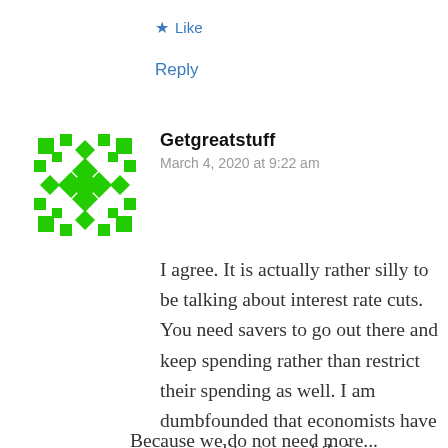★ Like
Reply
[Figure (illustration): Green pixelated avatar icon for user Getgreatstuff]
Getgreatstuff
March 4, 2020 at 9:22 am
I agree. It is actually rather silly to be talking about interest rate cuts. You need savers to go out there and keep spending rather than restrict their spending as well. I am dumbfounded that economists have zero reality grasp of their own economic tools.
Because we do not need more...